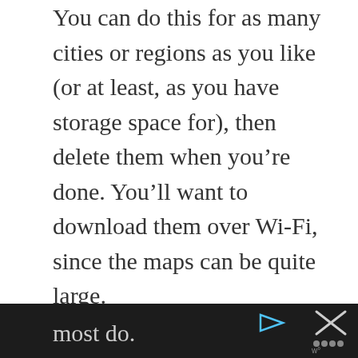You can do this for as many cities or regions as you like (or at least, as you have storage space for), then delete them when you're done. You'll want to download them over Wi-Fi, since the maps can be quite large.
You can only get driving directions (not walking or cycling) while offline, but you can still see where you are and find any address or landmark just by searching for it. Due to licensing, language and other restrictions, not every country has offline maps available, but most do.